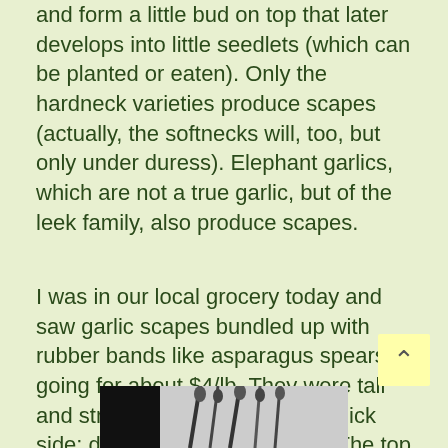and form a little bud on top that later develops into little seedlets (which can be planted or eaten). Only the hardneck varieties produce scapes (actually, the softnecks will, too, but only under duress). Elephant garlics, which are not a true garlic, but of the leek family, also produce scapes.
I was in our local grocery today and saw garlic scapes bundled up with rubber bands like asparagus spears going for about $4/lb. They were tall and straight and a little on the thick side: definitely elephant garlic. The top bulbs were quite large. Obviously older than the ones I had just picked from our garden
[Figure (photo): Black and white photo strip showing garlic scapes at the bottom of the page]